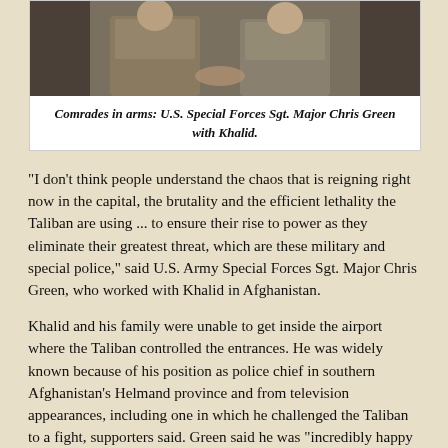[Figure (photo): Two soldiers in camouflage uniforms sitting together — U.S. Special Forces Sgt. Major Chris Green with Khalid.]
Comrades in arms: U.S. Special Forces Sgt. Major Chris Green with Khalid.
“I don’t think people understand the chaos that is reigning right now in the capital, the brutality and the efficient lethality the Taliban are using ... to ensure their rise to power as they eliminate their greatest threat, which are these military and special police,” said U.S. Army Special Forces Sgt. Major Chris Green, who worked with Khalid in Afghanistan.
Khalid and his family were unable to get inside the airport where the Taliban controlled the entrances. He was widely known because of his position as police chief in southern Afghanistan’s Helmand province and from television appearances, including one in which he challenged the Taliban to a fight, supporters said. Green said he was “incredibly happy ... elated,” when he learned that Khalid and his family were safe, noting that some of his American